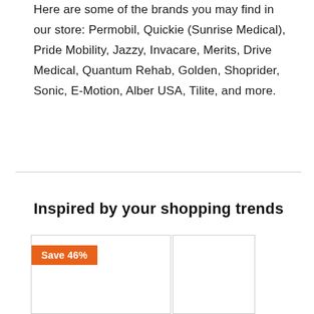Here are some of the brands you may find in our store: Permobil, Quickie (Sunrise Medical), Pride Mobility, Jazzy, Invacare, Merits, Drive Medical, Quantum Rehab, Golden, Shoprider, Sonic, E-Motion, Alber USA, Tilite, and more.
Inspired by your shopping trends
[Figure (other): Product card with orange 'Save 46%' badge and an adjacent product card, part of a shopping recommendations grid]